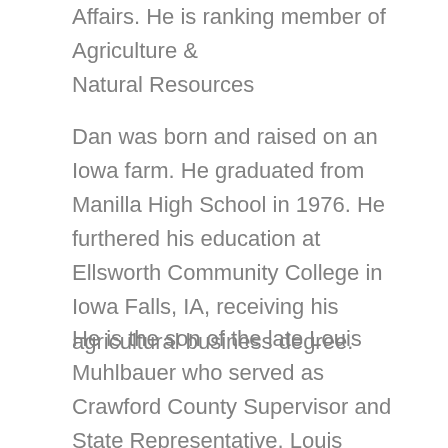Affairs. He is ranking member of Agriculture & Natural Resources
Dan was born and raised on an Iowa farm. He graduated from Manilla High School in 1976. He furthered his education at Ellsworth Community College in Iowa Falls, IA, receiving his agricultural business degree.
He is the son of the late Louis Muhlbauer who served as Crawford County Supervisor and State Representative. Louis served the Iowa House of Representatives from 1983-1993. Dan’s mother, Phyllis, resides in Manilla and is excited to see the family legacy continue.